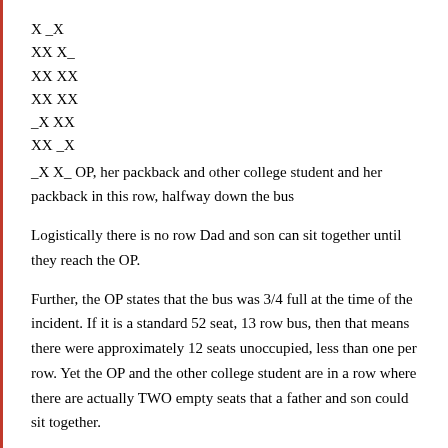X _X
XX X_
XX XX
XX XX
_X XX
XX _X
_X X_ OP, her packback and other college student and her packback in this row, halfway down the bus
Logistically there is no row Dad and son can sit together until they reach the OP.
Further, the OP states that the bus was 3/4 full at the time of the incident. If it is a standard 52 seat, 13 row bus, then that means there were approximately 12 seats unoccupied, less than one per row. Yet the OP and the other college student are in a row where there are actually TWO empty seats that a father and son could sit together.